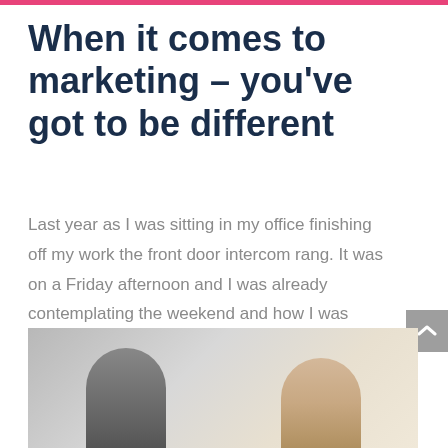When it comes to marketing – you've got to be different
Last year as I was sitting in my office finishing off my work the front door intercom rang. It was on a Friday afternoon and I was already contemplating the weekend and how I was going to spoil myself after a long, busy week. A lady was standing there all smiles....
[Figure (photo): Two people (one with dark hair, one blonde) photographed together, likely smiling, partial view from bottom of page]